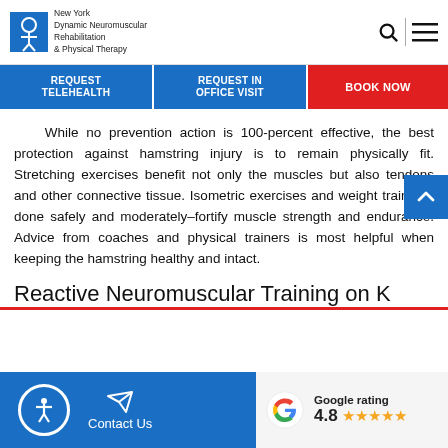New York Dynamic Neuromuscular Rehabilitation & Physical Therapy
REQUEST TELEHEALTH | REQUEST IN OFFICE VISIT | BOOK NOW
While no prevention action is 100-percent effective, the best protection against hamstring injury is to remain physically fit. Stretching exercises benefit not only the muscles but also tendons and other connective tissue. Isometric exercises and weight training–done safely and moderately–fortify muscle strength and endurance. Advice from coaches and physical trainers is most helpful when keeping the hamstring healthy and intact.
Reactive Neuromuscular Training on K
Contact Us | Google rating 4.8